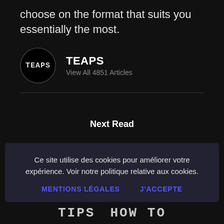choose on the format that suits you essentially the most.
TEAPS
View All 4851 Articles
Next Read
Ce site utilise des cookies pour améliorer votre expérience. Voir notre politique relative aux cookies.
MENTIONS LÉGALES    J'accepte
TIPS   HOW TO